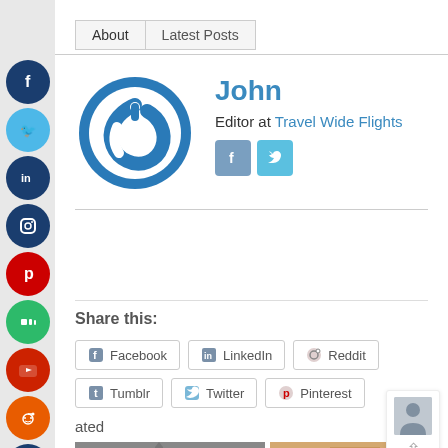[Figure (other): Social media floating sidebar with icons: Facebook, Twitter, LinkedIn, Instagram, Pinterest, Medium, YouTube, Reddit, Tumblr, Digg]
About | Latest Posts
[Figure (logo): Circular power/link icon logo in blue for Travel Wide Flights author profile]
John
Editor at Travel Wide Flights
Share this:
Facebook LinkedIn Reddit Tumblr Twitter Pinterest
ated
[Figure (photo): Statue of Liberty photo thumbnail]
[Figure (photo): Gateway of India photo thumbnail]